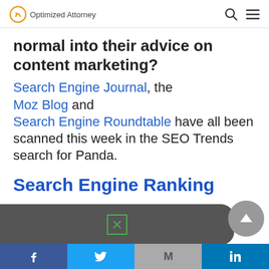Optimized Attorney
normal into their advice on content marketing? Search Engine Journal, the Moz Blog and Search Engine Roundtable have all been scanned this week in the SEO Trends search for Panda.
Search Engine Ranking
[Figure (other): Dark grey rounded rectangle ad banner with green X close icon]
Moz makes a living by selling SEO tools, so the
Facebook | Twitter | Gmail | LinkedIn social share bar